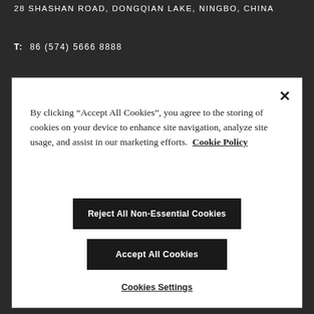28 SHASHAN ROAD, DONGQIAN LAKE, NINGBO, CHINA
T:  86 (574) 5666 8888
By clicking “Accept All Cookies”, you agree to the storing of cookies on your device to enhance site navigation, analyze site usage, and assist in our marketing efforts.  Cookie Policy
Reject All Non-Essential Cookies
Accept All Cookies
Cookies Settings